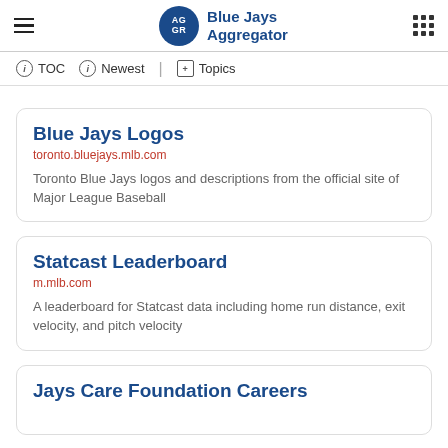Blue Jays Aggregator
TOC | Newest | Topics
Blue Jays Logos
toronto.bluejays.mlb.com
Toronto Blue Jays logos and descriptions from the official site of Major League Baseball
Statcast Leaderboard
m.mlb.com
A leaderboard for Statcast data including home run distance, exit velocity, and pitch velocity
Jays Care Foundation Careers